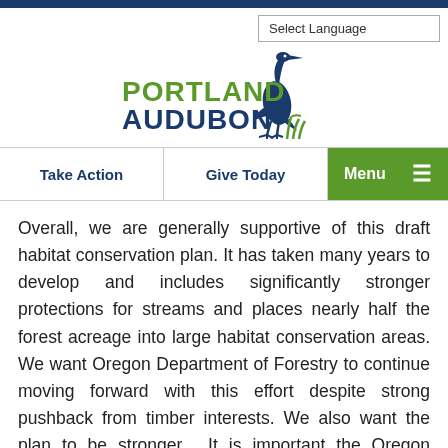Portland Audubon
[Figure (logo): Portland Audubon logo with heron bird illustration, 'PORTLAND' in green bold text and 'AUDUBON' in dark blue bold text]
Take Action   Give Today   Menu
Overall, we are generally supportive of this draft habitat conservation plan. It has taken many years to develop and includes significantly stronger protections for streams and places nearly half the forest acreage into large habitat conservation areas. We want Oregon Department of Forestry to continue moving forward with this effort despite strong pushback from timber interests. We also want the plan to be stronger.  It is important the Oregon Department of Forestry and the federal agencies hear those messages from the public.